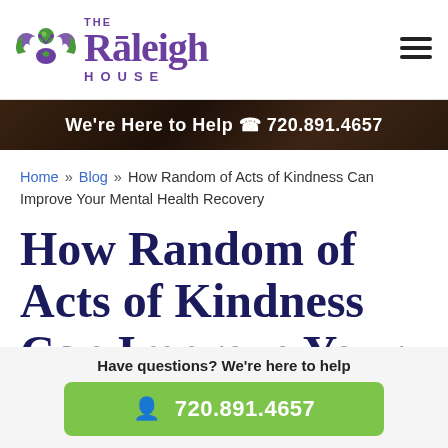[Figure (logo): The Raleigh House logo with purple winged emblem and purple text]
We're Here to Help ☎ 720.891.4657
Home » Blog » How Random of Acts of Kindness Can Improve Your Mental Health Recovery
How Random of Acts of Kindness Can Improve Your Mental Health
Have questions? We're here to help
720.891.4657